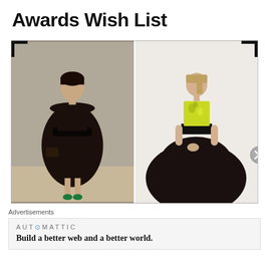Awards Wish List
[Figure (photo): Side-by-side photos: left shows a woman in a black sleeveless dress with a wide belt holding a clutch; right shows a fashion model in a strapless gown with yellow floral top and voluminous black ball skirt.]
Advertisements
[Figure (logo): Automattic logo and tagline: 'Build a better web and a better world.']